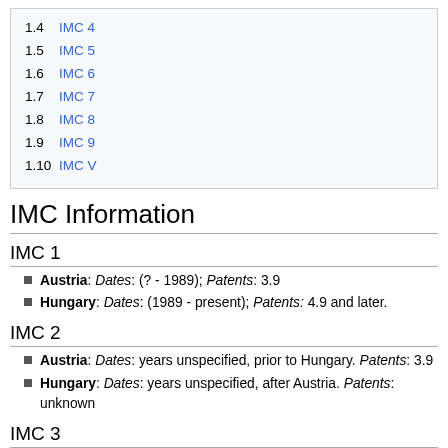1.4 IMC 4
1.5 IMC 5
1.6 IMC 6
1.7 IMC 7
1.8 IMC 8
1.9 IMC 9
1.10 IMC V
IMC Information
IMC 1
Austria: Dates: (? - 1989); Patents: 3.9
Hungary: Dates: (1989 - present); Patents: 4.9 and later.
IMC 2
Austria: Dates: years unspecified, prior to Hungary. Patents: 3.9
Hungary: Dates: years unspecified, after Austria. Patents: unknown
IMC 3
Austria: Dates: (? - 1989); Patents: 3.9